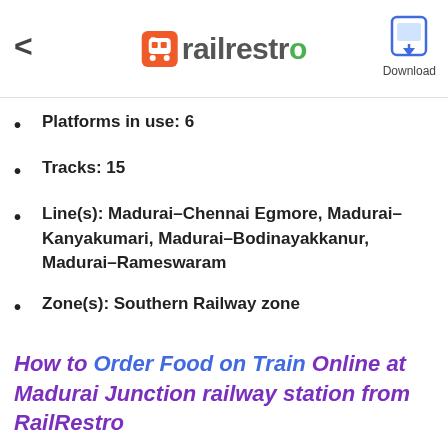railrestro — Download
Platforms in use: 6
Tracks: 15
Line(s): Madurai–Chennai Egmore, Madurai–Kanyakumari, Madurai–Bodinayakkanur, Madurai–Rameswaram
Zone(s): Southern Railway zone
Division(s): Madurai
How to Order Food on Train Online at Madurai Junction railway station from RailRestro